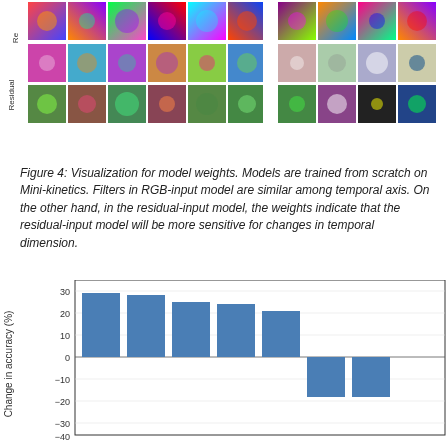[Figure (illustration): Grid of colorful filter visualizations for model weights, arranged in rows labeled 'Residual' and another row, showing RGB and residual-input model filters as small colored patches across temporal axis.]
Figure 4: Visualization for model weights. Models are trained from scratch on Mini-kinetics. Filters in RGB-input model are similar among temporal axis. On the other hand, in the residual-input model, the weights indicate that the residual-input model will be more sensitive for changes in temporal dimension.
[Figure (bar-chart): ]